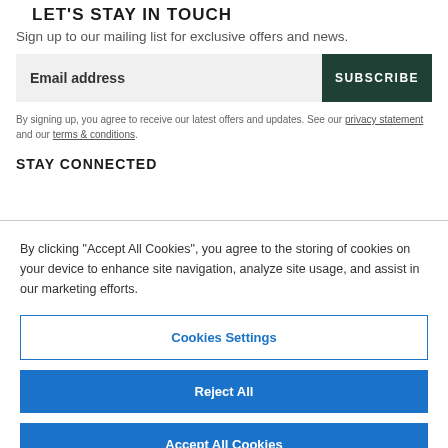LET'S STAY IN TOUCH
Sign up to our mailing list for exclusive offers and news.
Email address
SUBSCRIBE
By signing up, you agree to receive our latest offers and updates. See our privacy statement and our terms & conditions.
STAY CONNECTED
By clicking “Accept All Cookies”, you agree to the storing of cookies on your device to enhance site navigation, analyze site usage, and assist in our marketing efforts.
Cookies Settings
Reject All
Accept All Cookies